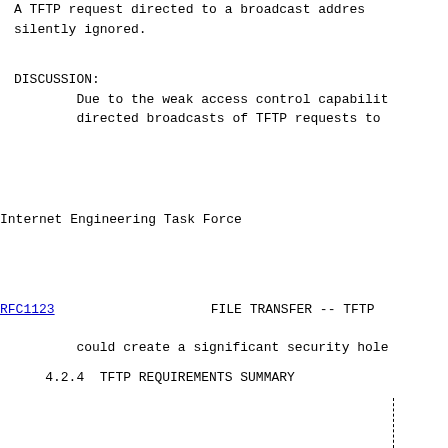A TFTP request directed to a broadcast addres
silently ignored.
DISCUSSION:
        Due to the weak access control capabilit
        directed broadcasts of TFTP requests to
Internet Engineering Task Force
RFC1123                    FILE TRANSFER -- TFTP
could create a significant security hole
4.2.4  TFTP REQUIREMENTS SUMMARY